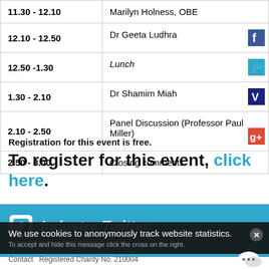| Time | Event |
| --- | --- |
| 11.30 - 12.10 | Marilyn Holness, OBE |
| 12.10 - 12.50 | Dr Geeta Ludhra |
| 12.50 -1.30 | Lunch |
| 1.30 - 2.10 | Dr Shamim Miah |
| 2.10 - 2.50 | Panel Discussion (Professor Paul Miller) |
| 2.50 - 3.00 | Closing comments |
Registration for this event is free.
To register for this event, click here.
Industry Twitter
We use cookies to anonymously track website statistics.
To accept and hide this message click the cross on the right.
Contact   Registered Charity No. 210004